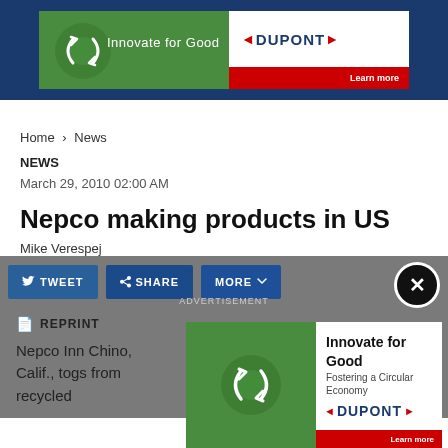[Figure (illustration): DuPont 'Innovate for Good' advertisement banner with green globe and recycling arrows imagery, dark blue background]
Home > News
NEWS
March 29, 2010 02:00 AM
Nepco making products in US
Mike Verespej
[Figure (screenshot): Social sharing toolbar with TWEET, SHARE, MORE buttons and ADVERTISEMENT label, close button (X)]
REPRINT
Nepco In... in Chino, Calif., to... gs from recycled...
[Figure (illustration): DuPont 'Innovate for Good - Fostering a Circular Economy' advertisement overlay with green globe and DuPont logo]